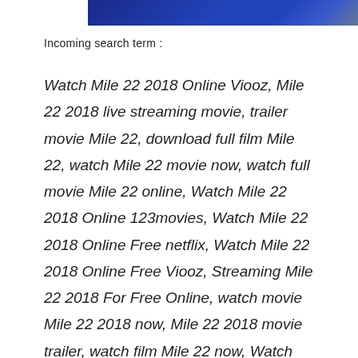[Figure (photo): Blue banner image at top of page]
Incoming search term :
Watch Mile 22 2018 Online Viooz, Mile 22 2018 live streaming movie, trailer movie Mile 22, download full film Mile 22, watch Mile 22 movie now, watch full movie Mile 22 online, Watch Mile 22 2018 Online 123movies, Watch Mile 22 2018 Online Free netflix, Watch Mile 22 2018 Online Free Viooz, Streaming Mile 22 2018 For Free Online, watch movie Mile 22 2018 now, Mile 22 2018 movie trailer, watch film Mile 22 now, Watch Mile 22 2018 Online Megashare, Watch Mile 22 2018 Online Free megashare, Watch Mile 22 2018 Online Putlocker, Mile 22 2018 movie streaming,